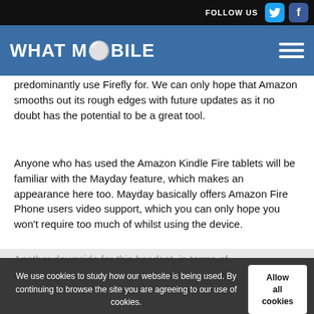FOLLOW US [Twitter] [Facebook]
WHAT MOBILE
predominantly use Firefly for. We can only hope that Amazon smooths out its rough edges with future updates as it no doubt has the potential to be a great tool.
Anyone who has used the Amazon Kindle Fire tablets will be familiar with the Mayday feature, which makes an appearance here too. Mayday basically offers Amazon Fire Phone users video support, which you can only hope you won't require too much of whilst using the device.
Another downside for this handset, in terms of...of its o...came all...
We use cookies to study how our website is being used. By continuing to browse the site you are agreeing to our use of cookies.